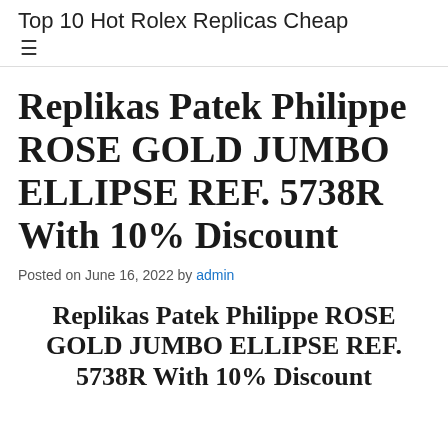Top 10 Hot Rolex Replicas Cheap
Replikas Patek Philippe ROSE GOLD JUMBO ELLIPSE REF. 5738R With 10% Discount
Posted on June 16, 2022 by admin
Replikas Patek Philippe ROSE GOLD JUMBO ELLIPSE REF. 5738R With 10% Discount